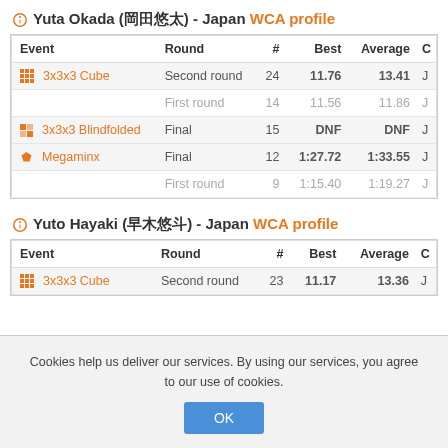Yuta Okada (岡田悠太) - Japan WCA profile
| Event | Round | # | Best | Average | C |
| --- | --- | --- | --- | --- | --- |
| 3x3x3 Cube | Second round | 24 | 11.76 | 13.41 | J |
|  | First round | 14 | 11.56 | 11.86 | J |
| 3x3x3 Blindfolded | Final | 15 | DNF | DNF | J |
| Megaminx | Final | 12 | 1:27.72 | 1:33.55 | J |
|  | First round | 9 | 1:15.40 | 1:19.27 | J |
Yuto Hayaki (早木悠斗) - Japan WCA profile
| Event | Round | # | Best | Average | C |
| --- | --- | --- | --- | --- | --- |
| 3x3x3 Cube | Second round | 23 | 11.17 | 13.36 | J |
Cookies help us deliver our services. By using our services, you agree to our use of cookies.